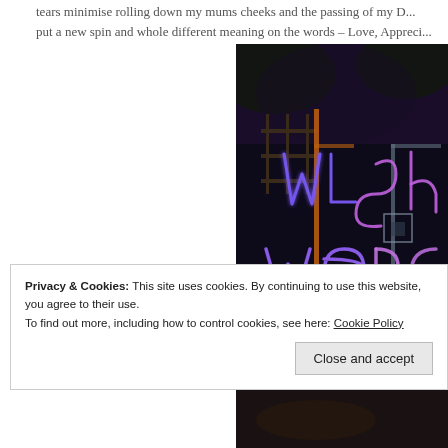tears minimise rolling down my mums cheeks and the passing of my... put a new spin and whole different meaning on the words – Love, Appreci...
[Figure (photo): Night-time long-exposure photo showing light-painted glowing letters spelling 'Wish Were' in blue/purple light on a dark background with green grass and trees]
Privacy & Cookies: This site uses cookies. By continuing to use this website, you agree to their use.
To find out more, including how to control cookies, see here: Cookie Policy